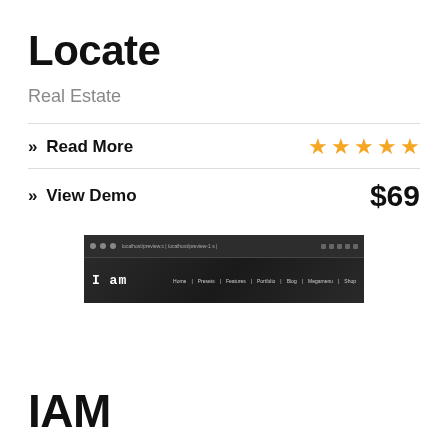Locate
Real Estate
» Read More
★★★★★
» View Demo
$69
[Figure (screenshot): Website screenshot showing a dark-themed webpage with 'I am' logo text on the left and navigation menu items: Home, Presets, Features, Portfolio, Blog, Megamenu, Shop]
IAM